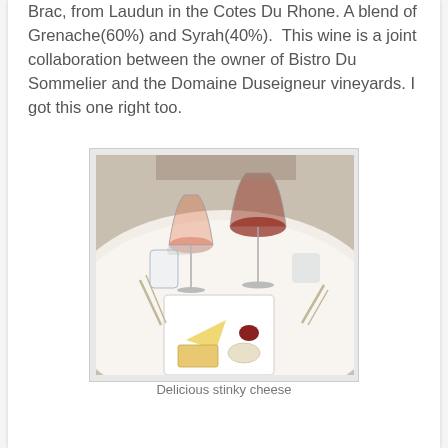Brac, from Laudun in the Cotes Du Rhone. A blend of Grenache(60%) and Syrah(40%).  This wine is a joint collaboration between the owner of Bistro Du Sommelier and the Domaine Duseigneur vineyards. I got this one right too.
[Figure (photo): A restaurant table set with a white tablecloth, two red wine glasses, a water glass, cutlery, and a square white plate with cheese, crackers, and a small portion of jam or condiment.]
Delicious stinky cheese